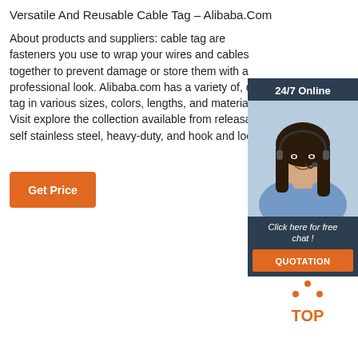Versatile And Reusable Cable Tag – Alibaba.Com
About products and suppliers: cable tag are fasteners you use to wrap your wires and cables together to prevent damage or store them with a professional look. Alibaba.com has a variety of, cable tag in various sizes, colors, lengths, and materials. Visit explore the collection available from releasable, self stainless steel, heavy-duty, and hook and loop.
[Figure (other): Chat widget showing '24/7 Online' header, a photo of a woman with a headset, 'Click here for free chat!' text, and an orange QUOTATION button]
[Figure (other): Orange 'Get Price' button]
[Figure (logo): Orange TOP logo with dots above the text TOP in orange]